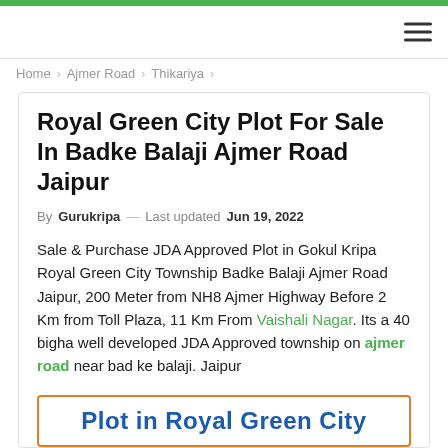≡
Home › Ajmer Road › Thikariya ›
Royal Green City Plot For Sale In Badke Balaji Ajmer Road Jaipur
By Gurukripa — Last updated Jun 19, 2022
Sale & Purchase JDA Approved Plot in Gokul Kripa Royal Green City Township Badke Balaji Ajmer Road Jaipur, 200 Meter from NH8 Ajmer Highway Before 2 Km from Toll Plaza, 11 Km From Vaishali Nagar. Its a 40 bigha well developed JDA Approved township on ajmer road near bad ke balaji. Jaipur
Plot in Royal Green City